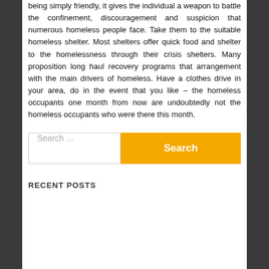being simply friendly, it gives the individual a weapon to battle the confinement, discouragement and suspicion that numerous homeless people face. Take them to the suitable homeless shelter. Most shelters offer quick food and shelter to the homelessness through their crisis shelters. Many proposition long haul recovery programs that arrangement with the main drivers of homeless. Have a clothes drive in your area, do in the event that you like – the homeless occupants one month from now are undoubtedly not the homeless occupants who were there this month.
Search ...
RECENT POSTS